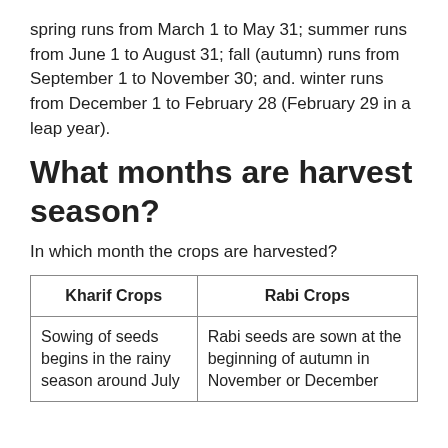spring runs from March 1 to May 31; summer runs from June 1 to August 31; fall (autumn) runs from September 1 to November 30; and. winter runs from December 1 to February 28 (February 29 in a leap year).
What months are harvest season?
In which month the crops are harvested?
| Kharif Crops | Rabi Crops |
| --- | --- |
| Sowing of seeds begins in the rainy season around July | Rabi seeds are sown at the beginning of autumn in November or December |